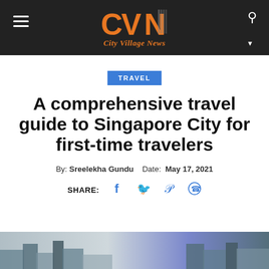City Village News
TRAVEL
A comprehensive travel guide to Singapore City for first-time travelers
By: Sreelekha Gundu   Date: May 17, 2021
SHARE:
[Figure (photo): Bottom strip showing partial cityscape image in blues and grays]